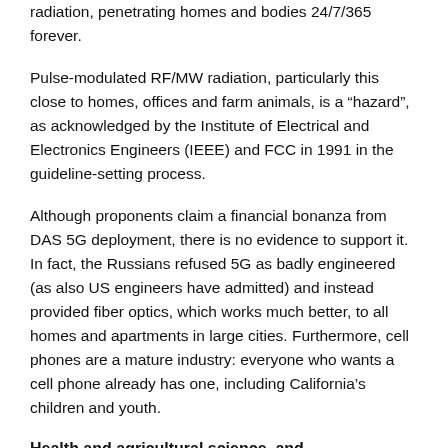radiation, penetrating homes and bodies 24/7/365 forever.
Pulse-modulated RF/MW radiation, particularly this close to homes, offices and farm animals, is a “hazard”, as acknowledged by the Institute of Electrical and Electronics Engineers (IEEE) and FCC in 1991 in the guideline-setting process.
Although proponents claim a financial bonanza from DAS 5G deployment, there is no evidence to support it. In fact, the Russians refused 5G as badly engineered (as also US engineers have admitted) and instead provided fiber optics, which works much better, to all homes and apartments in large cities. Furthermore, cell phones are a mature industry: everyone who wants a cell phone already has one, including California’s children and youth.
Health and agricultural science, and